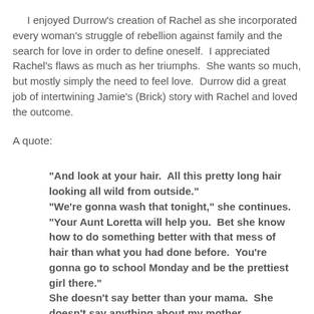I enjoyed Durrow's creation of Rachel as she incorporated every woman's struggle of rebellion against family and the search for love in order to define oneself.  I appreciated Rachel's flaws as much as her triumphs.  She wants so much, but mostly simply the need to feel love.  Durrow did a great job of intertwining Jamie's (Brick) story with Rachel and loved the outcome.
A quote:
"And look at your hair.  All this pretty long hair looking all wild from outside." "We're gonna wash that tonight," she continues.  "Your Aunt Loretta will help you.  Bet she know how to do something better with that mess of hair than what you had done before.  You're gonna go to school Monday and be the prettiest girl there." She doesn't say better than your mama.  She doesn't say anything about my mother, because both know that the world is